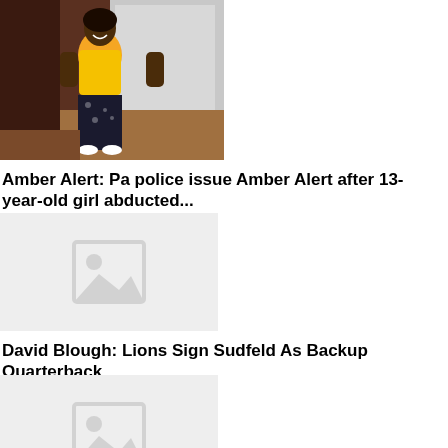[Figure (photo): A young woman standing in a kitchen wearing a yellow t-shirt and dark floral pants, smiling at the camera.]
Amber Alert: Pa police issue Amber Alert after 13-year-old girl abducted...
[Figure (photo): Placeholder image with gray background and image icon]
David Blough: Lions Sign Sudfeld As Backup Quarterback
[Figure (photo): Placeholder image with gray background and image icon (partial, cropped at bottom)]